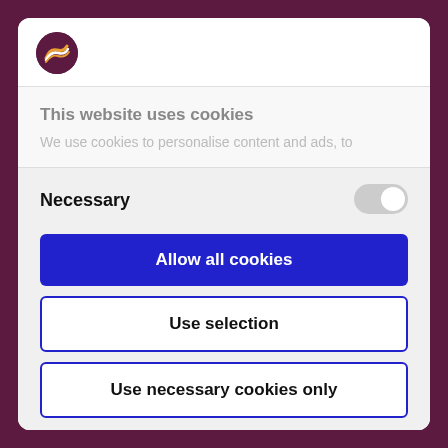[Figure (logo): Circular dark purple logo with stylized white wave/ribbon graphic inside]
This website uses cookies
We use cookies to personalise content and ads, to
Necessary
Allow all cookies
Use selection
Use necessary cookies only
Powered by Cookiebot by Usercentrics